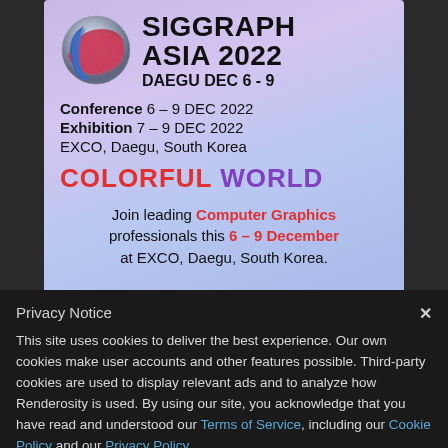[Figure (illustration): SIGGRAPH Asia 2022 promotional banner with sphere logo, title 'SIGGRAPH ASIA 2022 DAEGU DEC 6-9', conference and exhibition dates, venue EXCO Daegu South Korea, tagline COLORFUL WORLD, and descriptive text about joining Computer Graphics professionals 6-9 December at EXCO Daegu South Korea.]
Privacy Notice
This site uses cookies to deliver the best experience. Our own cookies make user accounts and other features possible. Third-party cookies are used to display relevant ads and to analyze how Renderosity is used. By using our site, you acknowledge that you have read and understood our Terms of Service, including our Cookie Policy and our Privacy Policy.